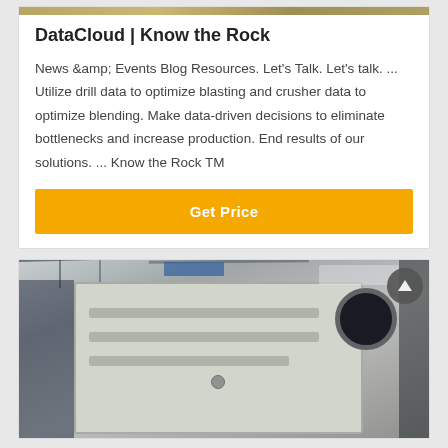[Figure (photo): Top image strip showing industrial/outdoor scene in muted tones]
DataCloud | Know the Rock
News &amp; Events Blog Resources. Let's Talk. Let's talk. ... Utilize drill data to optimize blasting and crusher data to optimize blending. Make data-driven decisions to eliminate bottlenecks and increase production. End results of our solutions. ... Know the Rock TM
[Figure (other): Get Price button (orange/amber colored call-to-action button)]
[Figure (photo): Industrial factory photo showing a large white/grey mining crusher machine inside a manufacturing facility with overhead cranes and steel structure]